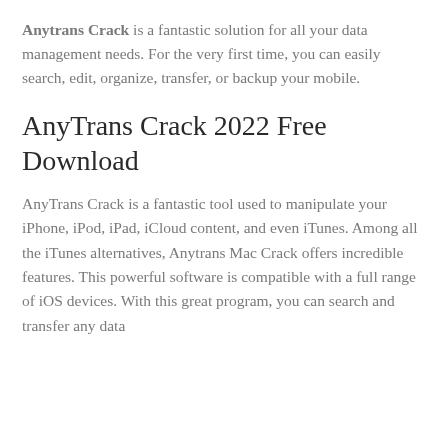Anytrans Crack is a fantastic solution for all your data management needs. For the very first time, you can easily search, edit, organize, transfer, or backup your mobile.
AnyTrans Crack 2022 Free Download
AnyTrans Crack is a fantastic tool used to manipulate your iPhone, iPod, iPad, iCloud content, and even iTunes. Among all the iTunes alternatives, Anytrans Mac Crack offers incredible features. This powerful software is compatible with a full range of iOS devices. With this great program, you can search and transfer any data